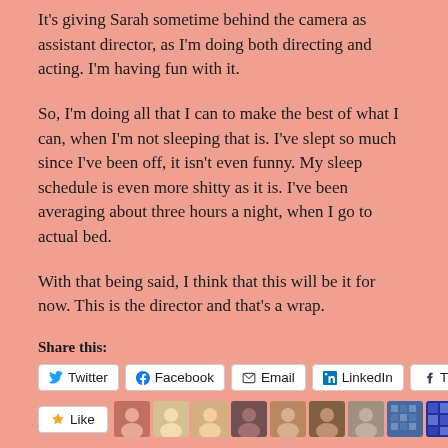It's giving Sarah sometime behind the camera as assistant director, as I'm doing both directing and acting. I'm having fun with it.
So, I'm doing all that I can to make the best of what I can, when I'm not sleeping that is. I've slept so much since I've been off, it isn't even funny. My sleep schedule is even more shitty as it is. I've been averaging about three hours a night, when I go to actual bed.
With that being said, I think that this will be it for now. This is the director and that's a wrap.
Share this:
Twitter | Facebook | Email | LinkedIn | Tumblr
Like